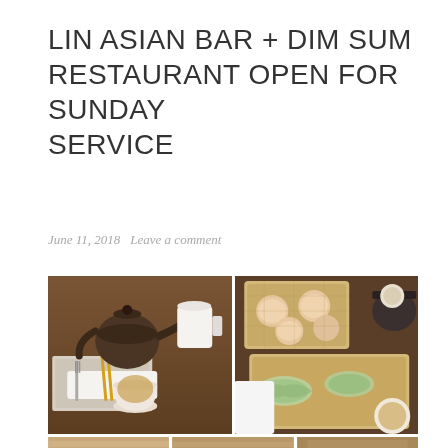LIN ASIAN BAR + DIM SUM RESTAURANT OPEN FOR SUNDAY SERVICE
June 11, 2018   Leave a comment
[Figure (photo): Two-panel food photograph: left panel shows a clay teapot, teacup with tea, chopsticks, fork, and napkin on a wooden restaurant table; right panel shows bamboo steam baskets with dim sum dumplings including har gow and other varieties, with a teapot in the background]
[Figure (photo): Three partial photos at the bottom edge of the page showing additional dim sum and restaurant dining scenes]